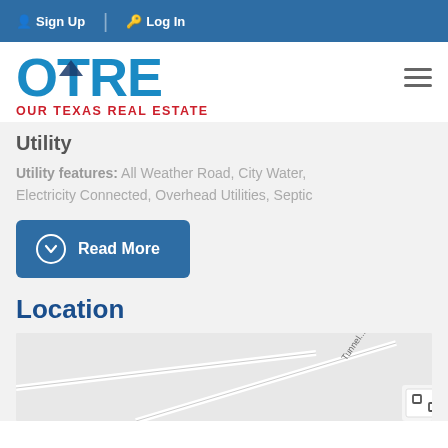Sign Up  Log In
[Figure (logo): OTRE - Our Texas Real Estate logo with blue letters and red tagline]
Utility
Utility features: All Weather Road, City Water, Electricity Connected, Overhead Utilities, Septic
[Figure (other): Read More button with down chevron icon]
Location
[Figure (map): Google Maps snippet showing Tunnel road area]